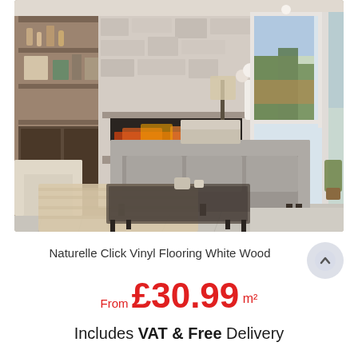[Figure (photo): Modern living room with light grey vinyl plank flooring, grey sofa, stone fireplace feature wall with electric fire, built-in dark wood shelving, beige shaggy rug, glass coffee table, and large windows letting in natural light]
Naturelle Click Vinyl Flooring White Wood
From £30.99 m²
Includes VAT & Free Delivery